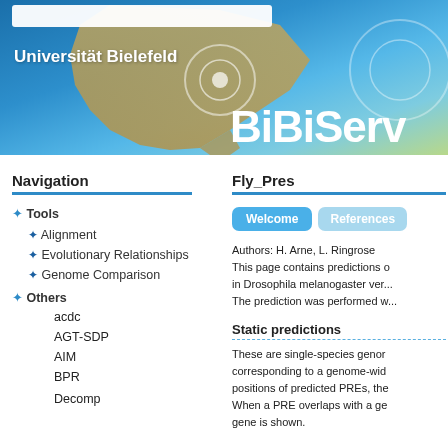[Figure (screenshot): BiBiServ website header banner with Universität Bielefeld logo on the left, BiBiServ title on the right, and a world map background in blue and tan tones]
Navigation
Tools
Alignment
Evolutionary Relationships
Genome Comparison
Others
acdc
AGT-SDP
AIM
BPR
Decomp
Fly_Pres
Authors: H. Arne, L. Ringrose This page contains predictions in Drosophila melanogaster ver... The prediction was performed w...
Static predictions
These are single-species genom corresponding to a genome-wid positions of predicted PREs, the When a PRE overlaps with a ge gene is shown.